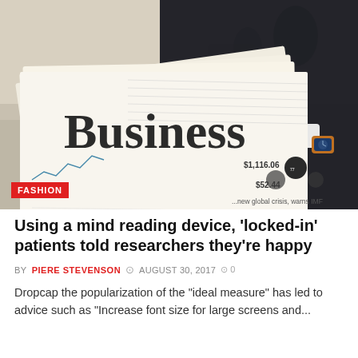[Figure (photo): A person in a dark suit and watch holding a newspaper with the word 'Business' visible on the front page, along with financial charts and figures. A 'FASHION' label badge appears in the bottom-left corner of the image.]
Using a mind reading device, 'locked-in' patients told researchers they're happy
BY PIERE STEVENSON  AUGUST 30, 2017  0
Dropcap the popularization of the "ideal measure" has led to advice such as "Increase font size for large screens and...